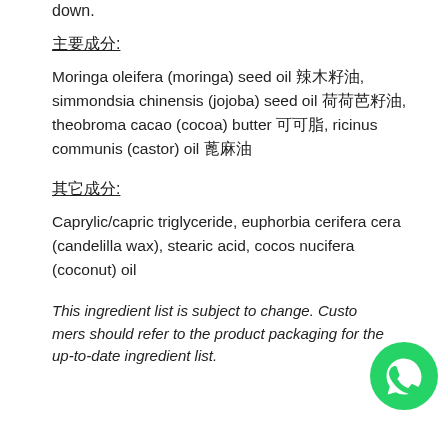down.
主要成分:
Moringa oleifera (moringa) seed oil 辣木籽油, simmondsia chinensis (jojoba) seed oil 荷荷芭籽油, theobroma cacao (cocoa) butter 可可脂, ricinus communis (castor) oil 蓖麻油
其它成分:
Caprylic/capric triglyceride, euphorbia cerifera cera (candelilla wax), stearic acid, cocos nucifera (coconut) oil
This ingredient list is subject to change. Customers should refer to the product packaging for the most up-to-date ingredient list.